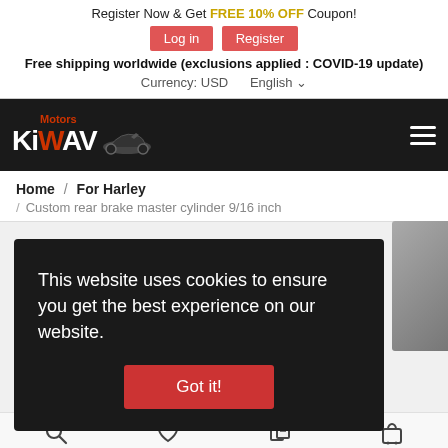Register Now & Get FREE 10% OFF Coupon!
Log in   Register
Free shipping worldwide (exclusions applied : COVID-19 update)
Currency: USD    English
[Figure (logo): KiWAV Motors logo with motorcycle graphic on dark background]
Home / For Harley / Custom rear brake master cylinder 9/16 inch
This website uses cookies to ensure you get the best experience on our website.
Got it!